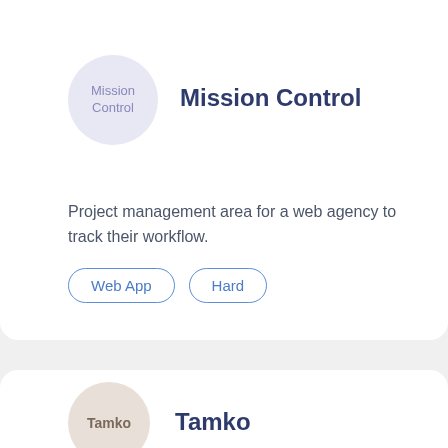[Figure (illustration): Circular avatar with light purple/lavender background labeled 'Mission Control']
Mission Control
Project management area for a web agency to track their workflow.
Web App
Hard
[Figure (illustration): Circular avatar with light tan/beige background labeled 'Tamko']
Tamko